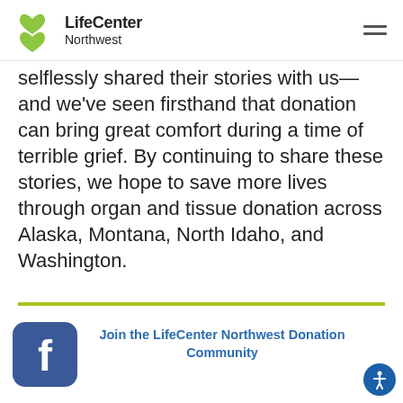LifeCenter Northwest
selflessly shared their stories with us—and we've seen firsthand that donation can bring great comfort during a time of terrible grief. By continuing to share these stories, we hope to save more lives through organ and tissue donation across Alaska, Montana, North Idaho, and Washington.
[Figure (logo): Facebook app icon - blue rounded square with white 'f' letter]
Join the LifeCenter Northwest Donation Community